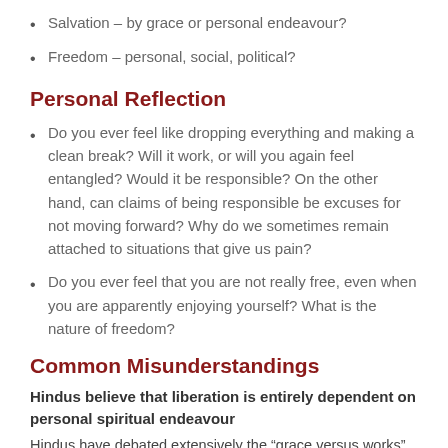Salvation – by grace or personal endeavour?
Freedom – personal, social, political?
Personal Reflection
Do you ever feel like dropping everything and making a clean break? Will it work, or will you again feel entangled? Would it be responsible? On the other hand, can claims of being responsible be excuses for not moving forward? Why do we sometimes remain attached to situations that give us pain?
Do you ever feel that you are not really free, even when you are apparently enjoying yourself? What is the nature of freedom?
Common Misunderstandings
Hindus believe that liberation is entirely dependent on personal spiritual endeavour
Hindus have debated extensively the “grace versus works” polemic and developed many sophisticated theologies acknowledging the role of God’s grace. At the same time, they don’t, on the whole, totally exclude the role of personal